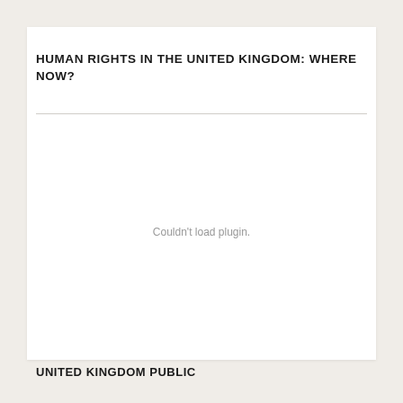HUMAN RIGHTS IN THE UNITED KINGDOM: WHERE NOW?
[Figure (other): Couldn't load plugin. — blank area where a PDF plugin/embedded document would appear]
UNITED KINGDOM PUBLIC